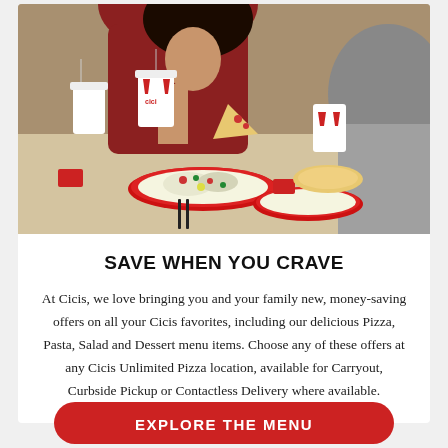[Figure (photo): People dining at a Cicis restaurant table with pizza, salad on red plates, and Cicis branded cups]
SAVE WHEN YOU CRAVE
At Cicis, we love bringing you and your family new, money-saving offers on all your Cicis favorites, including our delicious Pizza, Pasta, Salad and Dessert menu items. Choose any of these offers at any Cicis Unlimited Pizza location, available for Carryout, Curbside Pickup or Contactless Delivery where available.
EXPLORE THE MENU